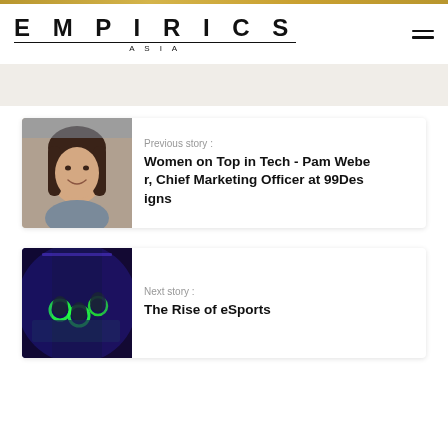EMPIRICS ASIA
[Figure (photo): Portrait photo of a woman with brown hair smiling, used as thumbnail for previous story card]
Previous story :
Women on Top in Tech - Pam Weber, Chief Marketing Officer at 99Designs
[Figure (photo): Dark photo of eSports players at gaming event with colorful lighting, used as thumbnail for next story card]
Next story :
The Rise of eSports